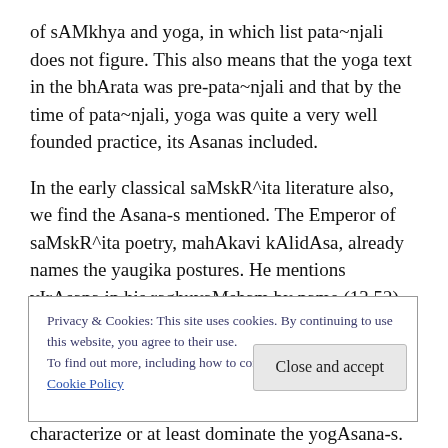of sAMkhya and yoga, in which list pata~njali does not figure. This also means that the yoga text in the bhArata was pre-pata~njali and that by the time of pata~njali, yoga was quite a very well founded practice, its Asanas included.
In the early classical saMskR^ita literature also, we find the Asana-s mentioned. The Emperor of saMskR^ita poetry, mahAkavi kAlidAsa, already names the yaugika postures. He mentions vIrAsana in his raghuvaMsham by name (13.52) and also beautifully describes the
Privacy & Cookies: This site uses cookies. By continuing to use this website, you agree to their use.
To find out more, including how to control cookies, see here: Cookie Policy
characterize or at least dominate the yogAsana-s.